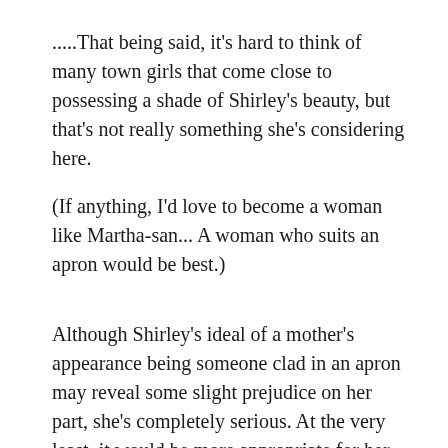.....That being said, it's hard to think of many town girls that come close to possessing a shade of Shirley's beauty, but that's not really something she's considering here.
(If anything, I'd love to become a woman like Martha-san... A woman who suits an apron would be best.)
Although Shirley's ideal of a mother's appearance being someone clad in an apron may reveal some slight prejudice on her part, she's completely serious. At the very least, it would be more appropriate for her than a thirty-year-old still wearing a white one-piece